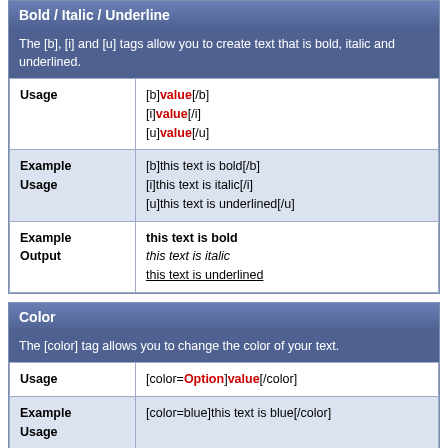Bold / Italic / Underline
The [b], [i] and [u] tags allow you to create text that is bold, italic and underlined.
|  |  |
| --- | --- |
| Usage | [b]value[/b]
[i]value[/i]
[u]value[/u] |
| Example Usage | [b]this text is bold[/b]
[i]this text is italic[/i]
[u]this text is underlined[/u] |
| Example Output | this text is bold / this text is italic / this text is underlined |
Color
The [color] tag allows you to change the color of your text.
|  |  |
| --- | --- |
| Usage | [color=Option]value[/color] |
| Example Usage | [color=blue]this text is blue[/color] |
| Example Output | this text is blue |
Size